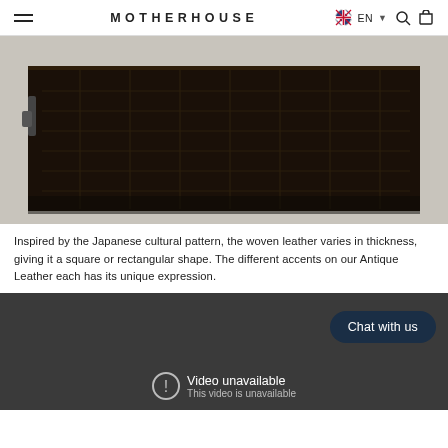MOTHERHOUSE EN
[Figure (photo): Close-up of a dark brown woven leather bag with a zipper, showing square/rectangular grid pattern on the leather surface, placed on a light textured background.]
Inspired by the Japanese cultural pattern, the woven leather varies in thickness, giving it a square or rectangular shape. The different accents on our Antique Leather each has its unique expression.
[Figure (screenshot): Dark background screenshot panel showing a 'Chat with us' button in the top right and a 'Video unavailable / This video is unavailable' message with a warning icon at the bottom center.]